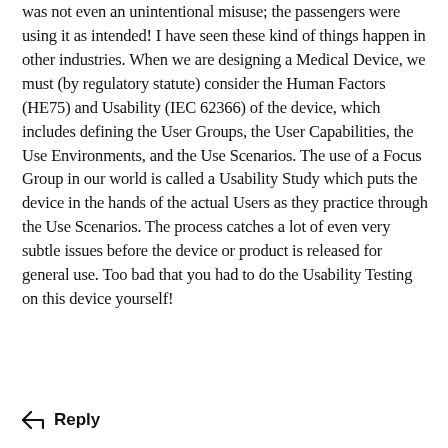was not even an unintentional misuse; the passengers were using it as intended! I have seen these kind of things happen in other industries. When we are designing a Medical Device, we must (by regulatory statute) consider the Human Factors (HE75) and Usability (IEC 62366) of the device, which includes defining the User Groups, the User Capabilities, the Use Environments, and the Use Scenarios. The use of a Focus Group in our world is called a Usability Study which puts the device in the hands of the actual Users as they practice through the Use Scenarios. The process catches a lot of even very subtle issues before the device or product is released for general use. Too bad that you had to do the Usability Testing on this device yourself!
Reply